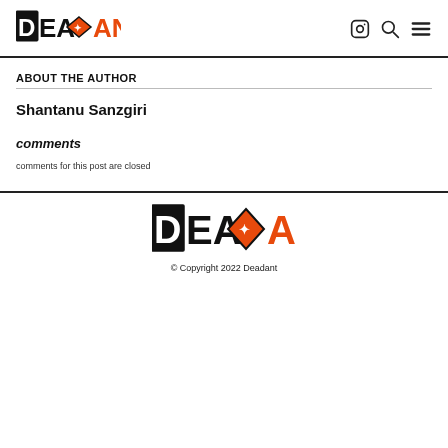DEADANT — logo with navigation icons
ABOUT THE AUTHOR
Shantanu Sanzgiri
comments
comments for this post are closed
© Copyright 2022 Deadant